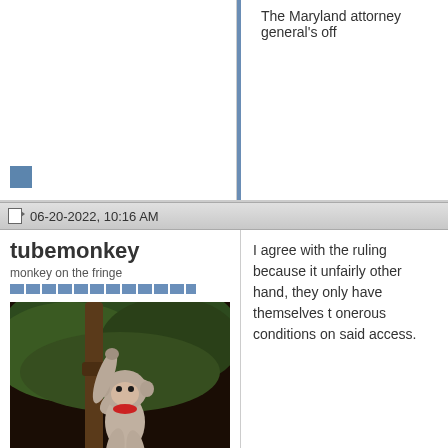The Maryland attorney general's off
06-20-2022, 10:16 AM
tubemonkey
monkey on the fringe
[Figure (photo): Profile photo of a sock monkey toy hanging from a tree branch with foliage in the background]
Posts: 44,679
Karma: 157649494
Join Date: May 2010
Location: Seattle Metro
Device: Moto E6, FireTab 7, Echo Show 5
I agree with the ruling because it unfairly other hand, they only have themselves t onerous conditions on said access.